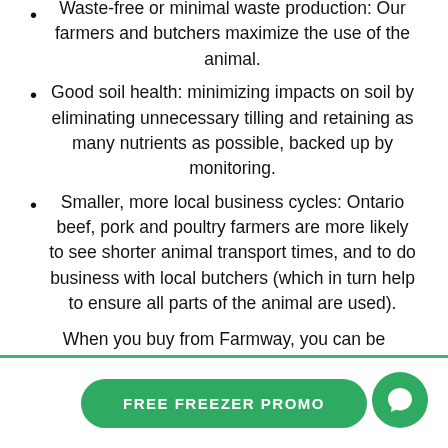Waste-free or minimal waste production: Our farmers and butchers maximize the use of the animal.
Good soil health: minimizing impacts on soil by eliminating unnecessary tilling and retaining as many nutrients as possible, backed up by monitoring.
Smaller, more local business cycles: Ontario beef, pork and poultry farmers are more likely to see shorter animal transport times, and to do business with local butchers (which in turn help to ensure all parts of the animal are used).
When you buy from Farmway, you can be